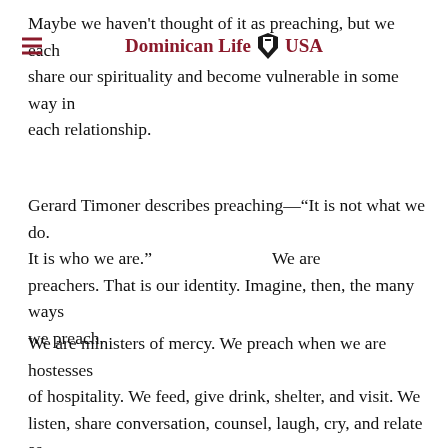Dominican Life USA
Maybe we haven't thought of it as preaching, but we each share our spirituality and become vulnerable in some way in each relationship.
Gerard Timoner describes preaching—“It is not what we do. It is who we are.”                                    We are preachers. That is our identity. Imagine, then, the many ways we preach.
We are ministers of mercy. We preach when we are hostesses of hospitality. We feed, give drink, shelter, and visit. We listen, share conversation, counsel, laugh, cry, and relate as we work jigsaw puzzles. We preach with a smile, a word of encouragement, a gentle touch on the shoulder, and a nod of recognition. We are the Works of Mercy.
We are educated and educators. We preach when we